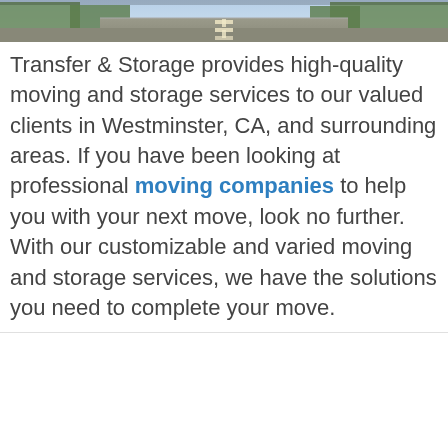[Figure (photo): Aerial or street-level view of a road with lane markings, trees and pavement visible]
Transfer & Storage provides high-quality moving and storage services to our valued clients in Westminster, CA, and surrounding areas. If you have been looking at professional moving companies to help you with your next move, look no further. With our customizable and varied moving and storage services, we have the solutions you need to complete your move.